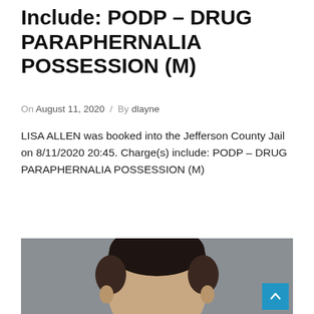Include: PODP – DRUG PARAPHERNALIA POSSESSION (M)
On August 11, 2020 / By dlayne
LISA ALLEN was booked into the Jefferson County Jail on 8/11/2020 20:45. Charge(s) include: PODP – DRUG PARAPHERNALIA POSSESSION (M)
[Figure (photo): Mugshot photo of LISA ALLEN, showing head and upper shoulders against a gray background]